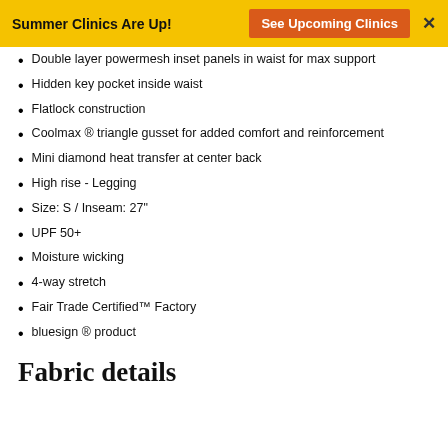Summer Clinics Are Up! [See Upcoming Clinics] ×
Double layer powermesh inset panels in waist for max support
Hidden key pocket inside waist
Flatlock construction
Coolmax ® triangle gusset for added comfort and reinforcement
Mini diamond heat transfer at center back
High rise - Legging
Size: S / Inseam: 27"
UPF 50+
Moisture wicking
4-way stretch
Fair Trade Certified™ Factory
bluesign ® product
Fabric details